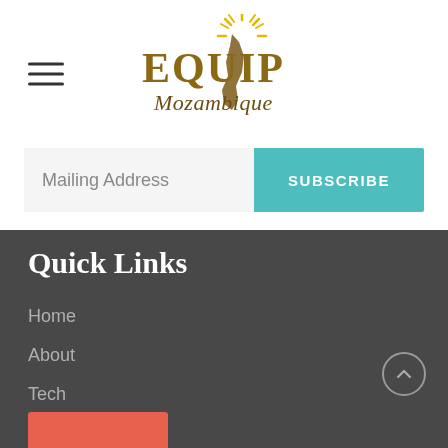[Figure (logo): Equip Mozambique logo with golden text and map silhouette with sun rays]
Mailing Address
SUBSCRIBE
Quick Links
Home
About
Tech
Sewing